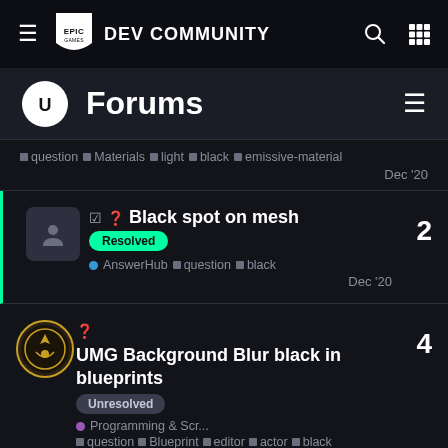Epic Games DEV COMMUNITY
Forums
question Materials light black emissive-material — Dec '20
✓ ? Black spot on mesh — Resolved — AnswerHub question black — Dec '20 — 2 replies
? UMG Background Blur black in blueprints — Unresolved — Programming & Scr... — question Blueprint editor actor black — Nov '20 — 4 replies